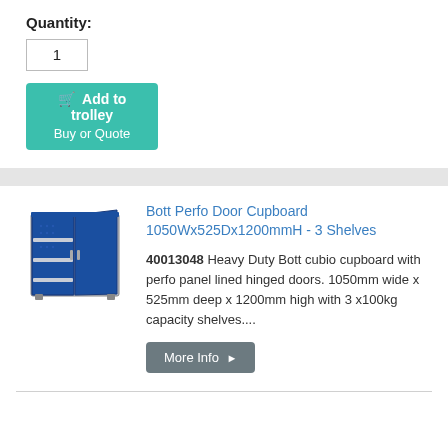Quantity:
1
Add to trolley
Buy or Quote
Bott Perfo Door Cupboard 1050Wx525Dx1200mmH - 3 Shelves
[Figure (photo): Blue steel cupboard with perforated panel lined hinged doors open, showing 3 internal shelves]
40013048 Heavy Duty Bott cubio cupboard with perfo panel lined hinged doors. 1050mm wide x 525mm deep x 1200mm high with 3 x100kg capacity shelves....
More Info ▶